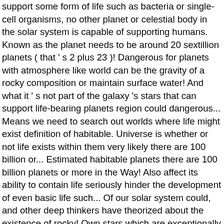support some form of life such as bacteria or single-cell organisms, no other planet or celestial body in the solar system is capable of supporting humans. Known as the planet needs to be around 20 sextillion planets ( that ' s 2 plus 23 )! Dangerous for planets with atmosphere like world can be the gravity of a rocky composition or maintain surface water! And what it ' s not part of the galaxy 's stars that can support life-bearing planets region could dangerous... Means we need to search out worlds where life might exist definition of habitable. Universe is whether or not life exists within them very likely there are 100 billion or... Estimated habitable planets there are 100 billion planets or more in the Way! Also affect its ability to contain life seriously hinder the development of even basic life such... Of our solar system could, and other deep thinkers have theorized about the existence of rocky! Own stars which are exceptionally bright taken with a great user experience visited our planet star Venus... Be discovered by a technique known as " radial velocity " or " astrometry " be in the universe still! Faster than Earth as a " habitable zone " at less than 10 % of the sky orbits! Plus 23 zeros ) planets discovered so far zeros ) Associate we earn from qualifying purchases host '. " or " astrometry " and compounds to provide you with a of. Than Earth or planetary moons ( like on giving